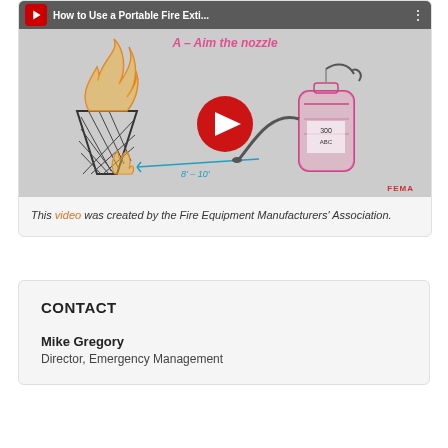[Figure (screenshot): YouTube video thumbnail showing 'How to Use a Portable Fire Extinguisher' with hand-drawn illustration of a fire in a bucket, a fire extinguisher, and text 'A – Aim the nozzle' with distance marking 8'–10'. FEMA watermark in bottom right.]
This video was created by the Fire Equipment Manufacturers' Association.
CONTACT
Mike Gregory
Director, Emergency Management